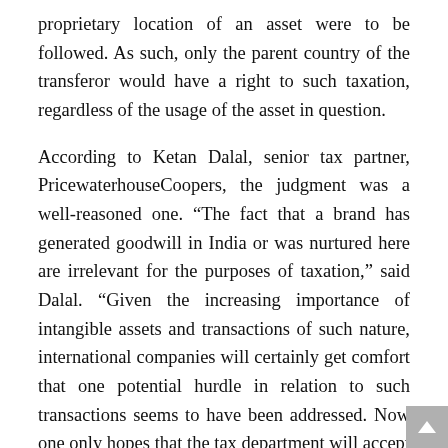proprietary location of an asset were to be followed. As such, only the parent country of the transferor would have a right to such taxation, regardless of the usage of the asset in question.
According to Ketan Dalal, senior tax partner, PricewaterhouseCoopers, the judgment was a well-reasoned one. “The fact that a brand has generated goodwill in India or was nurtured here are irrelevant for the purposes of taxation,” said Dalal. “Given the increasing importance of intangible assets and transactions of such nature, international companies will certainly get comfort that one potential hurdle in relation to such transactions seems to have been addressed. Now one only hopes that the tax department will accept this judgment and not take the matter to the Supreme Court.”